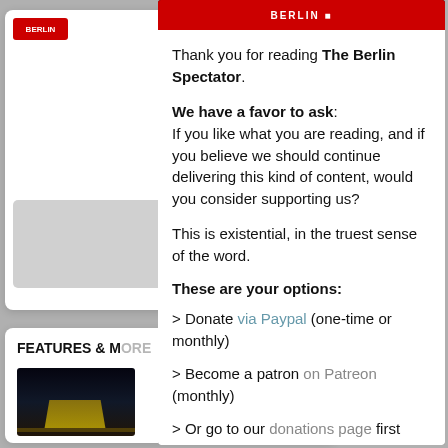[Figure (screenshot): Partially visible background web page with text clipped on the left side, and 'FEATURES & MORE' section with a night photo at the bottom left]
[Figure (screenshot): Modal overlay card from The Berlin Spectator website with a red header bar and donation request text]
Thank you for reading The Berlin Spectator.
We have a favor to ask: If you like what you are reading, and if you believe we should continue delivering this kind of content, would you consider supporting us?
This is existential, in the truest sense of the word.
These are your options:
> Donate via Paypal (one-time or monthly)
> Become a patron on Patreon (monthly)
> Or go to our donations page first
Thank you very much.